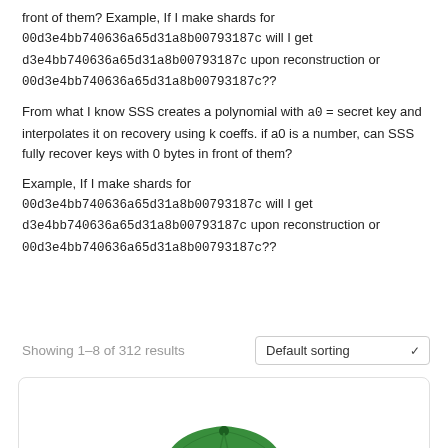front of them? Example, If I make shards for 00d3e4bb740636a65d31a8b00793187c will I get d3e4bb740636a65d31a8b00793187c upon reconstruction or 00d3e4bb740636a65d31a8b00793187c??
From what I know SSS creates a polynomial with a0 = secret key and interpolates it on recovery using k coeffs. if a0 is a number, can SSS fully recover keys with 0 bytes in front of them?
Example, If I make shards for 00d3e4bb740636a65d31a8b00793187c will I get d3e4bb740636a65d31a8b00793187c upon reconstruction or 00d3e4bb740636a65d31a8b00793187c??
Showing 1–8 of 312 results
[Figure (screenshot): Default sorting dropdown with chevron, and a product card showing a green baseball cap at the bottom of the page]